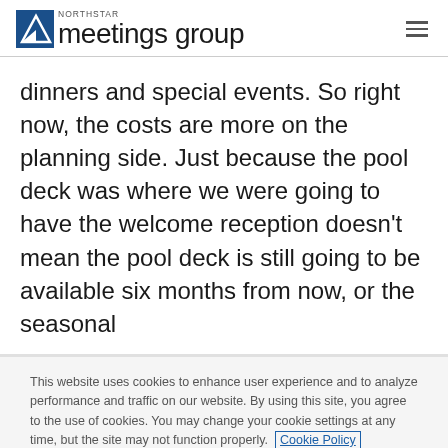NORTHSTAR meetings group
dinners and special events. So right now, the costs are more on the planning side. Just because the pool deck was where we were going to have the welcome reception doesn't mean the pool deck is still going to be available six months from now, or the seasonal
This website uses cookies to enhance user experience and to analyze performance and traffic on our website. By using this site, you agree to the use of cookies. You may change your cookie settings at any time, but the site may not function properly. Cookie Policy
Close